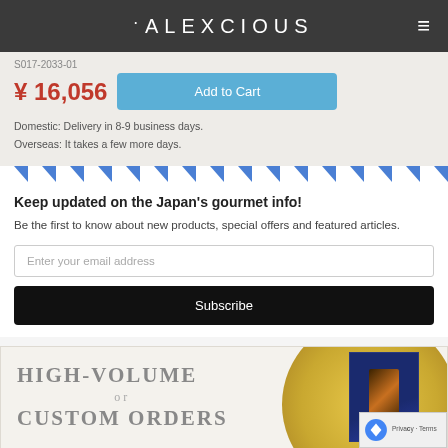ALEXCIOUS
S017-2033-01
¥16,056
Add to Cart
Domestic: Delivery in 8-9 business days.
Overseas: It takes a few more days.
Keep updated on the Japan's gourmet info!
Be the first to know about new products, special offers and featured articles.
Enter your email address
Subscribe
[Figure (illustration): High-volume or Custom Orders promotional banner with gift box image on gold circle background]